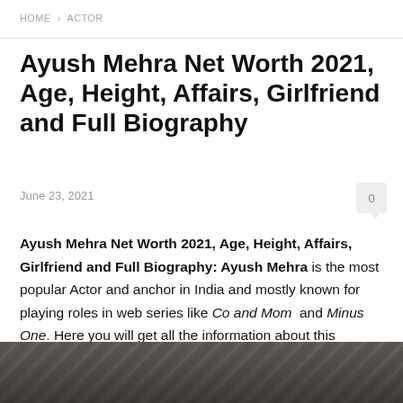HOME › ACTOR
Ayush Mehra Net Worth 2021, Age, Height, Affairs, Girlfriend and Full Biography
June 23, 2021
Ayush Mehra Net Worth 2021, Age, Height, Affairs, Girlfriend and Full Biography: Ayush Mehra is the most popular Actor and anchor in India and mostly known for playing roles in web series like Co and Mom and Minus One. Here you will get all the information about this celebrity from this website.
[Figure (photo): Bottom portion of a photo of Ayush Mehra, partially visible at the bottom of the page]